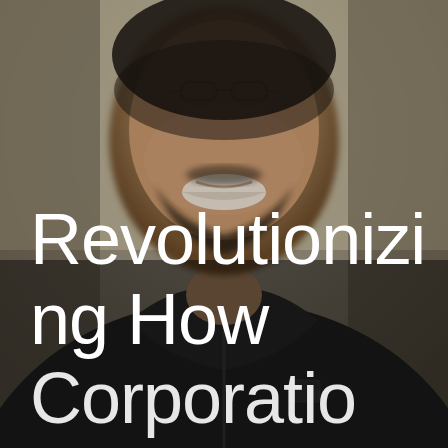[Figure (photo): Close-up photo of a smiling man with a beard, wearing glasses on top of his head and a dark zip-up hoodie with a Lacoste logo. The background is a blurred neutral tan/gray color.]
Revolutionizing How Corporations